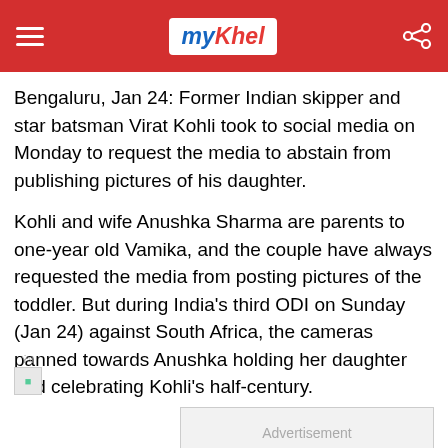myKhel
Bengaluru, Jan 24: Former Indian skipper and star batsman Virat Kohli took to social media on Monday to request the media to abstain from publishing pictures of his daughter.
Kohli and wife Anushka Sharma are parents to one-year old Vamika, and the couple have always requested the media from posting pictures of the toddler. But during India's third ODI on Sunday (Jan 24) against South Africa, the cameras panned towards Anushka holding her daughter and celebrating Kohli's half-century.
Advertisement